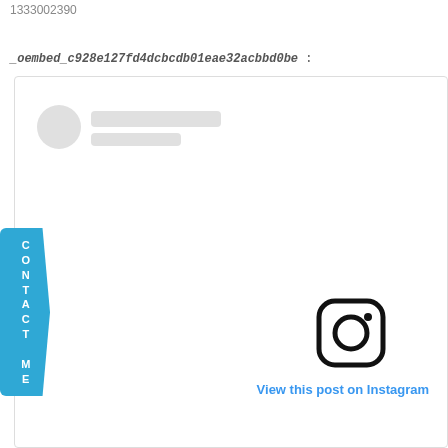1333002390
_oembed_c928e127fd4dcbcdb01eae32acbbd0be :
[Figure (screenshot): Instagram embed loading skeleton showing a circular avatar placeholder and two grey text placeholder bars, followed by an Instagram camera icon and a 'View this post on Instagram' blue link text at the bottom.]
CONTACT ME